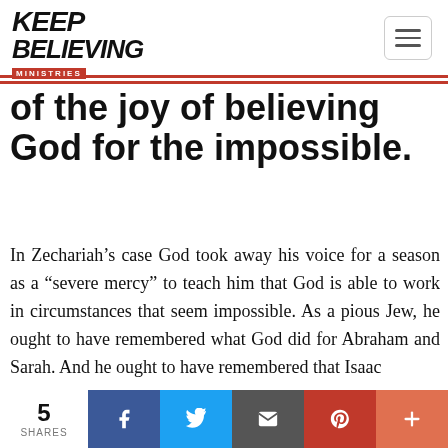KEEP BELIEVING MINISTRIES
of the joy of believing God for the impossible.
In Zechariah’s case God took away his voice for a season as a “severe mercy” to teach him that God is able to work in circumstances that seem impossible. As a pious Jew, he ought to have remembered what God did for Abraham and Sarah. And he ought to have remembered that Isaac
5 SHARES | Facebook | Twitter | Email | Pinterest | More